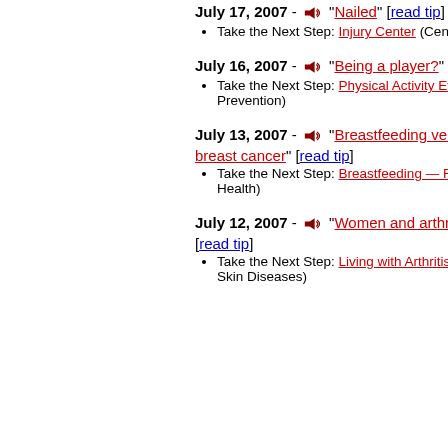Take the Next Step: Eating Disorders Obesity (Office on Women's Health)
July 17, 2007 - "Nailed" [read tip]
Take the Next Step: Injury Center (Centers for Disease Control and Prevention)
July 16, 2007 - "Being a player?" [read tip]
Take the Next Step: Physical Activity Everyone (Centers for Disease Control and Prevention)
July 13, 2007 - "Breastfeeding versus breast cancer" [read tip]
Take the Next Step: Breastfeeding — For Baby. Best For Mom. (Office on Women's Health)
July 12, 2007 - "Women and arthritis" [read tip]
Take the Next Step: Living with Arthritis (National Institute of Arthritis Musculoskeletal and Skin Diseases)